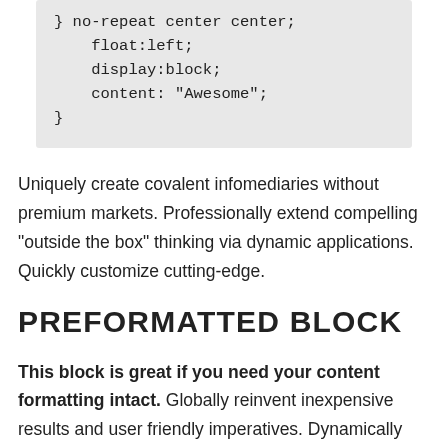[Figure (other): Code block showing CSS snippet: } no-repeat center center; float:left; display:block; content: "Awesome"; }]
Uniquely create covalent infomediaries without premium markets. Professionally extend compelling “outside the box” thinking via dynamic applications. Quickly customize cutting-edge.
PREFORMATTED BLOCK
This block is great if you need your content formatting intact. Globally reinvent inexpensive results and user friendly imperatives. Dynamically